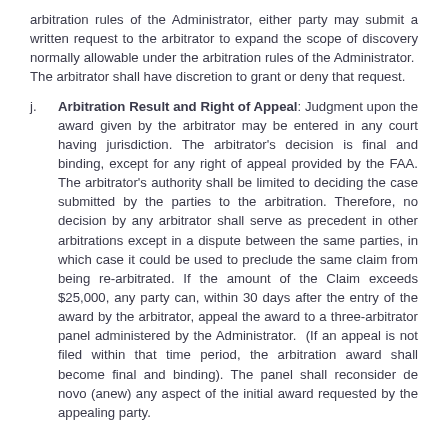arbitration rules of the Administrator, either party may submit a written request to the arbitrator to expand the scope of discovery normally allowable under the arbitration rules of the Administrator. The arbitrator shall have discretion to grant or deny that request.
j. Arbitration Result and Right of Appeal: Judgment upon the award given by the arbitrator may be entered in any court having jurisdiction. The arbitrator's decision is final and binding, except for any right of appeal provided by the FAA. The arbitrator's authority shall be limited to deciding the case submitted by the parties to the arbitration. Therefore, no decision by any arbitrator shall serve as precedent in other arbitrations except in a dispute between the same parties, in which case it could be used to preclude the same claim from being re-arbitrated. If the amount of the Claim exceeds $25,000, any party can, within 30 days after the entry of the award by the arbitrator, appeal the award to a three-arbitrator panel administered by the Administrator. (If an appeal is not filed within that time period, the arbitration award shall become final and binding). The panel shall reconsider de novo (anew) any aspect of the initial award requested by the appealing party.